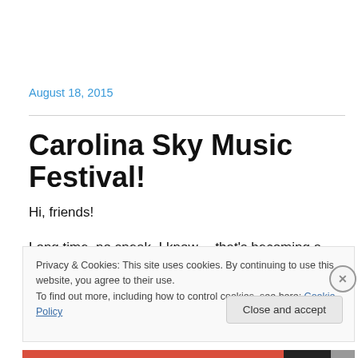August 18, 2015
Carolina Sky Music Festival!
Hi, friends!
Long time, no speak. I know… that's becoming a trend.
Privacy & Cookies: This site uses cookies. By continuing to use this website, you agree to their use.
To find out more, including how to control cookies, see here: Cookie Policy
Close and accept